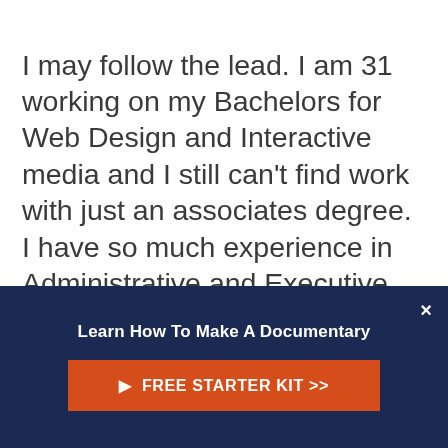I may follow the lead. I am 31 working on my Bachelors for Web Design and Interactive media and I still can't find work with just an associates degree. I have so much experience in Administrative and Executive work and also exploring Human Resource work. I have been submitting resumes online to about 20 jobs per day. There is either no response via email or call, no interviews offered, or receive rejection
[Figure (infographic): Dark navy blue promotional banner overlay with bold white text 'Learn How To Make A Documentary', an orange button labeled '▶ FREE STARTER KIT >>', and a white close (×) button in the top right corner.]